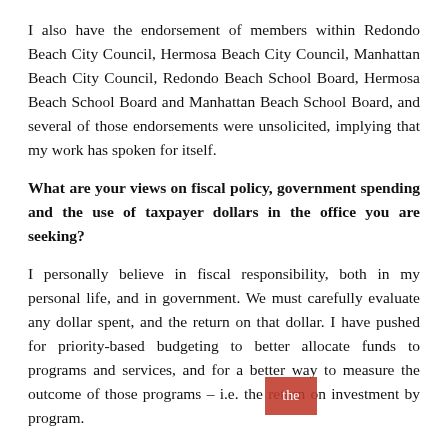I also have the endorsement of members within Redondo Beach City Council, Hermosa Beach City Council, Manhattan Beach City Council, Redondo Beach School Board, Hermosa Beach School Board and Manhattan Beach School Board, and several of those endorsements were unsolicited, implying that my work has spoken for itself.
What are your views on fiscal policy, government spending and the use of taxpayer dollars in the office you are seeking?
I personally believe in fiscal responsibility, both in my personal life, and in government. We must carefully evaluate any dollar spent, and the return on that dollar. I have pushed for priority-based budgeting to better allocate funds to programs and services, and for a better way to measure the outcome of those programs – i.e. the return on investment by program.
I believe that if we don't use taxpayer dollars wisely, we should lose that privilege. We must be transparent in our